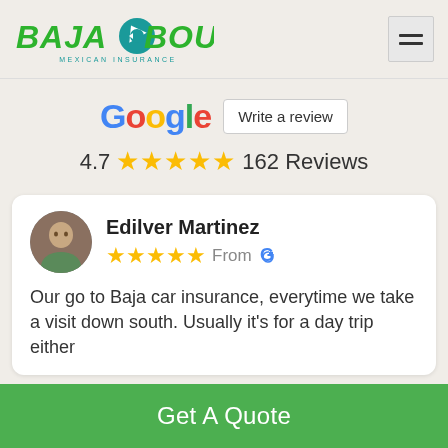[Figure (logo): Baja Bound Mexican Insurance logo in green italic bold text with a teal arrow/compass icon]
Google   Write a review
4.7 ★★★★★ 162 Reviews
Edilver Martinez
★★★★★ From G
Our go to Baja car insurance, everytime we take a visit down south. Usually it's for a day trip either
Get A Quote